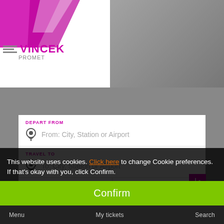[Figure (logo): Vincek logo with purple/magenta chevron and brand name VINCEK]
DEPART FROM
From: City, Station or Airport
TRAVEL TO
To: City, Station or Airport
DEPARTING ON
Select date
RETURNING ON
Optional
PASSENGERS
1 passenger
SEARCH
This website uses cookies. Click here to change Cookie preferences. If that's okay with you, click Confirm.
Confirm
Menu   My tickets   Search